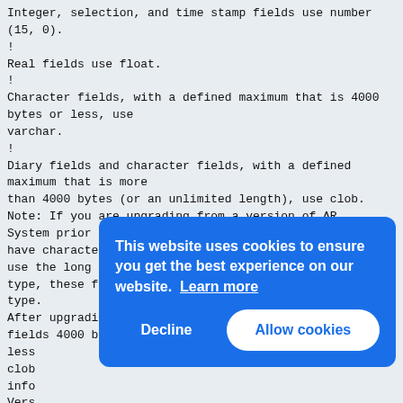Integer, selection, and time stamp fields use number (15, 0).
!
Real fields use float.
!
Character fields, with a defined maximum that is 4000 bytes or less, use varchar.
!
Diary fields and character fields, with a defined maximum that is more than 4000 bytes (or an unlimited length), use clob. Note: If you are upgrading from a version of AR System prior to 4.5, and you have character and diary fields over 255 bytes that use the long data type, these fields will continue to use the long data type. After upgrading to AR System 5.x, new character fields 4000 bytes or less clob info Vers Use !
Atta (For RDBM You larg configuration parameter in
[Figure (other): Cookie consent overlay banner with blue background. Text reads 'This website uses cookies to ensure you get the best experience on our website. Learn more' with two buttons: 'Decline' and 'Allow cookies'.]